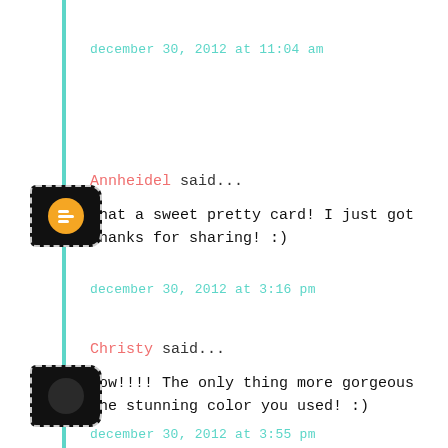december 30, 2012 at 11:04 am
Annheidel said...
What a sweet pretty card! I just got Thanks for sharing! :)
december 30, 2012 at 3:16 pm
Christy said...
Wow!!!! The only thing more gorgeous the stunning color you used! :)
december 30, 2012 at 3:55 pm
Tracey said...